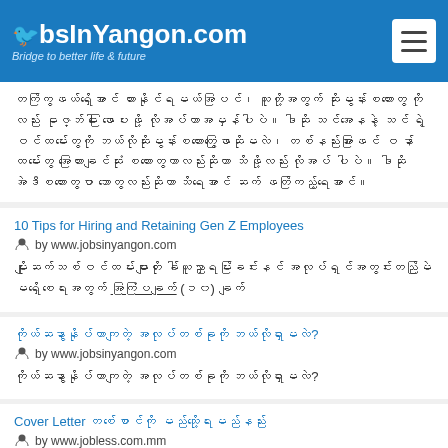JobsInYangon.com - Bridge to better life & future
တက်ကြွဖယ်ရှိအောင် ထားနိုင်ရမယ်အပြင်၊ သူတို့အတွက် ဆိုးမွန်းစကားတွေ ကိုလည်း ဓုဇ္ဘ်ဓါ ဖြောပေးဖို့ လိုအပ်တာအမှန်ပါပဲ။ ဒါဆို သင်အနေနဲ့ သင် ရဲ့ဝင်ထမ်းတွေကို ဘယ်လိုဆိုးမွန်းစကားတွေဖြောဆိုမလဲ၊ တစ်နည်းအားဖြင် ဝ နာ်ထမ်းတွေ အကြေားချင်ဆုံး စကားတွေကာလည်းဆိုတာ သိဖို့လည်း လိုအပ်ပါပဲ။ ဒါဆို အဲဒီစကားတွေပာ ဘာတွေလည်းဆိုတာ သိရအောင် ဆက် ဖတ်ကြည့်ရအောင်။
10 Tips for Hiring and Retaining Gen Z Employees
by www.jobsinyangon.com
မျိုးဆက်သစ်ဝင်ထမ်းများကို ခေါ်ယူညှာရမ်းခြင်းနင် အလုပ်ရှင်အတွင်းတည်မြဲ မရှိစေရေးအတွက် အကြံပြချက် (၁၀) ချက်
ကိုယ်ဆနွာနိုပ်တာကျတဲ့ အလုပ်တစ်ခုကို ဘယ်လိုရှာမလဲ?
by www.jobsinyangon.com
ကိုယ်ဆနွာနိုပ်တာကျတဲ့ အလုပ်တစ်ခုကို ဘယ်လိုရှာမလဲ?
Cover Letter တစ်စောင်ကို မည်သို့ရေးမည်နည်း
by www.jobless.com.mm
How to create CV
CVတစ်စောင်အားတည်ဆောက်ခြင်း
by Administrator